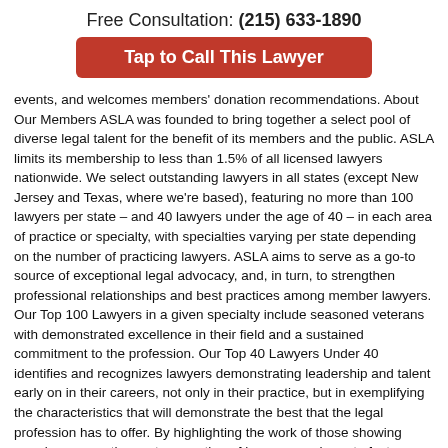Free Consultation: (215) 633-1890
Tap to Call This Lawyer
events, and welcomes members' donation recommendations. About Our Members ASLA was founded to bring together a select pool of diverse legal talent for the benefit of its members and the public. ASLA limits its membership to less than 1.5% of all licensed lawyers nationwide. We select outstanding lawyers in all states (except New Jersey and Texas, where we're based), featuring no more than 100 lawyers per state – and 40 lawyers under the age of 40 – in each area of practice or specialty, with specialties varying per state depending on the number of practicing lawyers. ASLA aims to serve as a go-to source of exceptional legal advocacy, and, in turn, to strengthen professional relationships and best practices among member lawyers. Our Top 100 Lawyers in a given specialty include seasoned veterans with demonstrated excellence in their field and a sustained commitment to the profession. Our Top 40 Lawyers Under 40 identifies and recognizes lawyers demonstrating leadership and talent early on in their careers, not only in their practice, but in exemplifying the characteristics that will demonstrate the best that the legal profession has to offer. By highlighting the work of those showing promise among the next generation of lawyers, we hope to foster growth in the legal profession and promote the highest standards of practice. ASLA's membership is by invitation only. While we accept nominations from licensed attorneys, we do not accept self-nominations or nominations from marketing companies, and every nomination is thoroughly